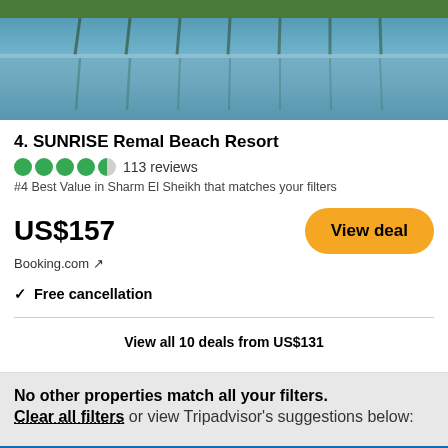[Figure (photo): Hotel pool area with palm tree reflections on water, aerial/wide view]
4. SUNRISE Remal Beach Resort
113 reviews
#4 Best Value in Sharm El Sheikh that matches your filters
US$157
Booking.com ↗
View deal
✓ Free cancellation
View all 10 deals from US$131
No other properties match all your filters.
Clear all filters or view Tripadvisor's suggestions below:
[Figure (photo): Aerial view of resort area near coastline with blue sea, labeled All Inclusive]